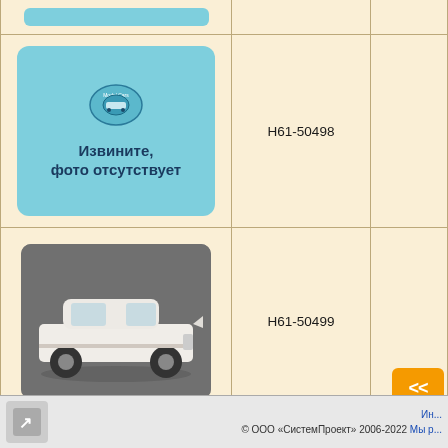| Фото | Артикул |  |
| --- | --- | --- |
| [partial top row - cropped] |  |  |
| [no-photo placeholder: Извините, фото отсутствует] | H61-50498 |  |
| [white car photo] | H61-50499 |  |
| [red car photo] | H61-50500 |  |
[Figure (other): Pagination button showing << (back)]
© ООО «СистемПроект» 2006-2022  Мы р...  Ин...